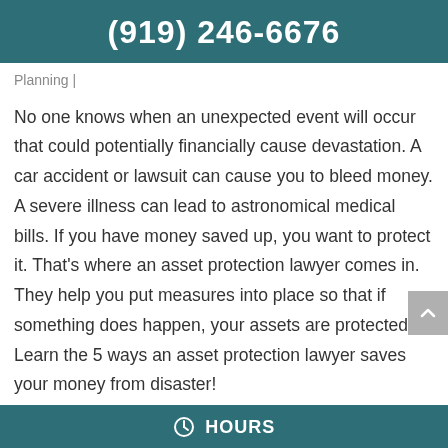(919) 246-6676
Planning |
No one knows when an unexpected event will occur that could potentially financially cause devastation. A car accident or lawsuit can cause you to bleed money. A severe illness can lead to astronomical medical bills. If you have money saved up, you want to protect it. That's where an asset protection lawyer comes in. They help you put measures into place so that if something does happen, your assets are protected. Learn the 5 ways an asset protection lawyer saves your money from disaster!
HOURS